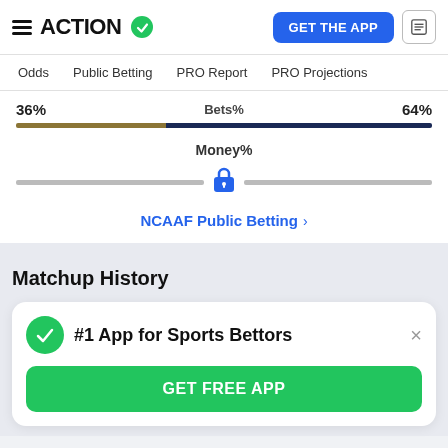ACTION  GET THE APP
Odds   Public Betting   PRO Report   PRO Projections
36%   Bets%   64%
Money%
NCAAF Public Betting >
Matchup History
#1 App for Sports Bettors
GET FREE APP